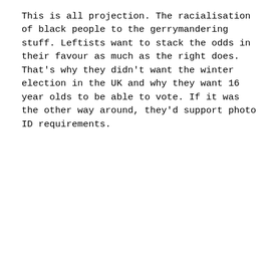This is all projection. The racialisation of black people to the gerrymandering stuff. Leftists want to stack the odds in their favour as much as the right does. That's why they didn't want the winter election in the UK and why they want 16 year olds to be able to vote. If it was the other way around, they'd support photo ID requirements.